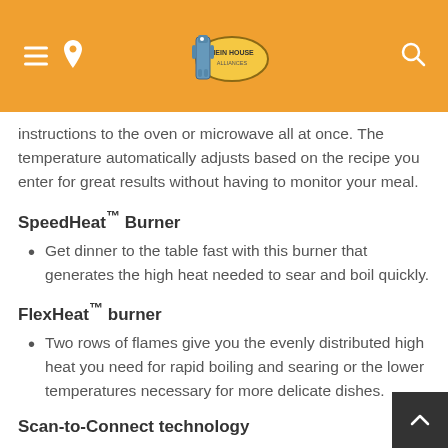Navigation header with hamburger menu, location icon, logo, and search icon
instructions to the oven or microwave all at once. The temperature automatically adjusts based on the recipe you enter for great results without having to monitor your meal.
SpeedHeat™ Burner
Get dinner to the table fast with this burner that generates the high heat needed to sear and boil quickly.
FlexHeat™ burner
Two rows of flames give you the evenly distributed high heat you need for rapid boiling and searing or the lower temperatures necessary for more delicate dishes.
Scan-to-Connect technology